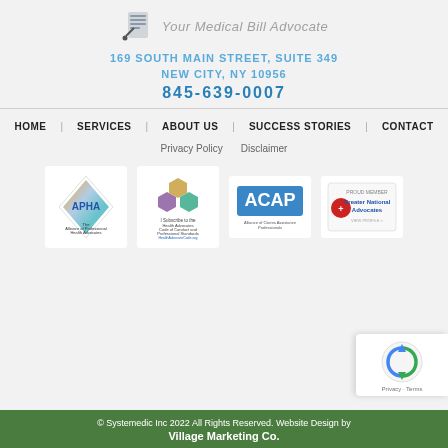[Figure (logo): Systemedic logo with pen/document icon and 'Your Medical Bill Advocate' tagline]
169 SOUTH MAIN STREET, SUITE 349
NEW CITY, NY 10956
845-639-0007
HOME  SERVICES  ABOUT US  SUCCESS STORIES  CONTACT
Privacy Policy   Disclaimer
[Figure (logo): APHA - The Alliance of Professional Health Advocates logo]
[Figure (logo): I Subscribe to the Health Advocates Code of Conduct and Professional Standards - HealthAdvocateCode.org logo with hexagon shapes]
[Figure (logo): ACAP - Alliance of Claims Assistance Professionals logo]
[Figure (logo): Greater National Advocates - Proud Member badge]
© Systemedic Inc 2022 All Rights Reserved. Website Design by Village Marketing Co.